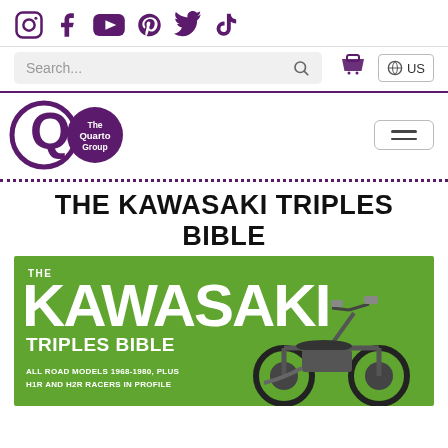[Figure (screenshot): Social media icons: Instagram, Facebook, YouTube, Pinterest, Twitter/X, TikTok in purple]
[Figure (screenshot): Navigation bar with search box, shopping cart icon, and US region selector button]
[Figure (logo): The Quarto Group logo — large Q circle and purple filled circle with white text 'The Quarto Group']
THE KAWASAKI TRIPLES BIBLE
[Figure (photo): Book cover image on green background showing 'THE KAWASAKI TRIPLES BIBLE — ALL ROAD MODELS 1968-1980, PLUS H1R AND H2R RACERS IN PROFILE' with motorcycle image]